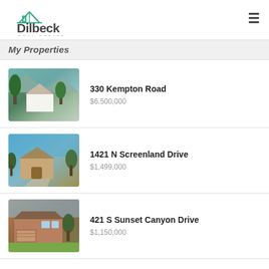[Figure (logo): Dilbeck Real Estate logo with teal house roof icon and company name]
My Properties
330 Kempton Road — $6,500,000
1421 N Screenland Drive — $1,499,000
421 S Sunset Canyon Drive — $1,150,000